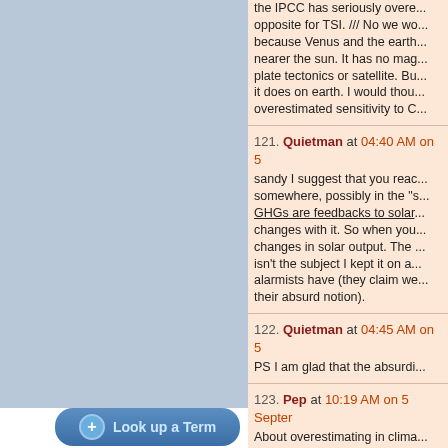the IPCC has seriously overe... opposite for TSI. /// No we wo... because Venus and the earth... nearer the sun. It has no mag... plate tectonics or satellite. Bu... it does on earth. I would thou... overestimated sensitivity to C...
121. Quietman at 04:40 AM on 5 ... sandy I suggest that you reac... somewhere, possibly in the "s... GHGs are feedbacks to solar... changes with it. So when you... changes in solar output. The ... isn't the subject I kept it on a... alarmists have (they claim we... their absurd notion).
122. Quietman at 04:45 AM on 5 ... PS I am glad that the absurdi...
123. Pep at 10:19 AM on 5 Septer... About overestimating in clima... and room for debate. http://www.er.doe.gov/OBER/...
124. Quietman at 11:25 AM on 5 ... Pep I cant open that site. Is th...
Look up a Term